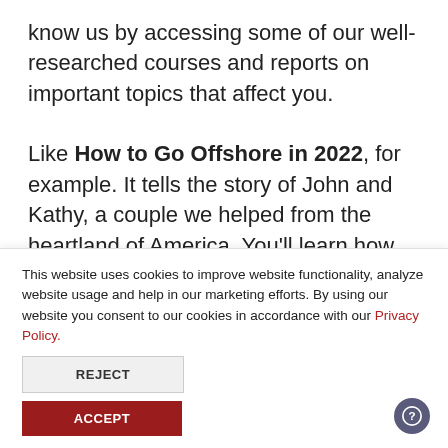know us by accessing some of our well-researched courses and reports on important topics that affect you.
Like How to Go Offshore in 2022, for example. It tells the story of John and Kathy, a couple we helped from the heartland of America. You'll learn how we helped them go offshore and protect their assets from...
This website uses cookies to improve website functionality, analyze website usage and help in our marketing efforts. By using our website you consent to our cookies in accordance with our Privacy Policy.